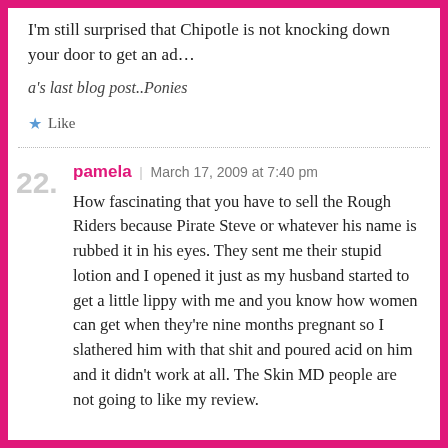I'm still surprised that Chipotle is not knocking down your door to get an ad…
a's last blog post..Ponies
Like
22. pamela | March 17, 2009 at 7:40 pm
How fascinating that you have to sell the Rough Riders because Pirate Steve or whatever his name is rubbed it in his eyes. They sent me their stupid lotion and I opened it just as my husband started to get a little lippy with me and you know how women can get when they're nine months pregnant so I slathered him with that shit and poured acid on him and it didn't work at all. The Skin MD people are not going to like my review.